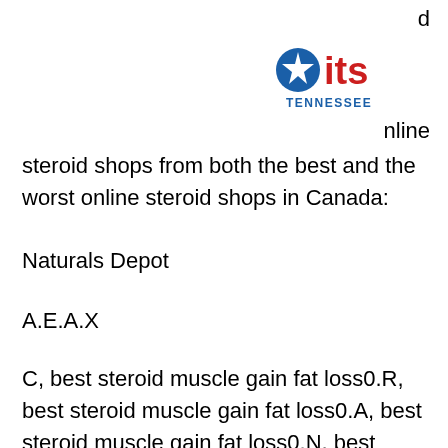[Figure (logo): ITS Tennessee logo with blue star and red 'its' text and 'TENNESSEE' subtitle]
d
nline
steroid shops from both the best and the worst online steroid shops in Canada:
Naturals Depot
A.E.A.X
C, best steroid muscle gain fat loss0.R, best steroid muscle gain fat loss0.A, best steroid muscle gain fat loss0.N, best steroid muscle gain fat loss0.Y
Tredyffrin
Aussie
Steroid Depot
A, best steroid muscle gain fat loss2.E